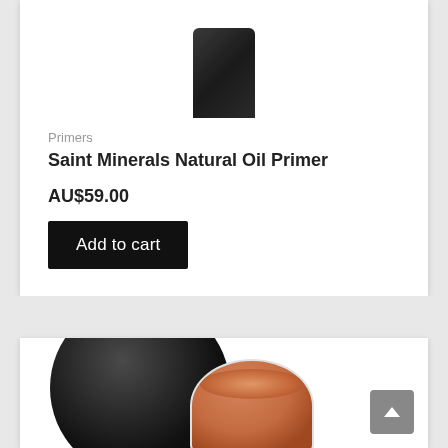[Figure (photo): Bottom portion of a black cylindrical primer bottle on a white background]
Primers
Saint Minerals Natural Oil Primer
AU$59.00
Add to cart
[Figure (photo): Black circular lid and open bronze/copper mineral powder jar visible at bottom of page]